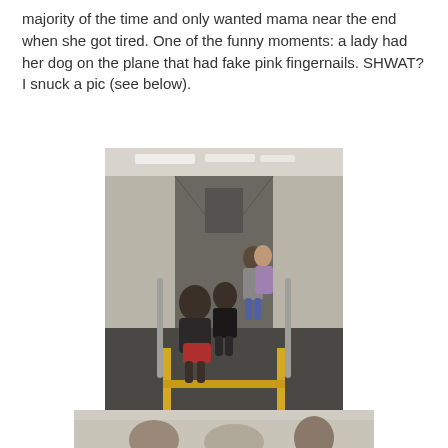majority of the time and only wanted mama near the end when she got tired. One of the funny moments: a lady had her dog on the plane that had fake pink fingernails. SHWAT? I snuck a pic (see below).
[Figure (photo): Family walking through an airport jet bridge/boarding ramp. Two children are in the foreground with backpacks, a man and woman with a child are visible further down the corridor. The corridor has gray walls, fluorescent lighting, and yellow safety stripes on the floor.]
[Figure (photo): Partial photo visible at the bottom of the page, appears to be another travel-related image.]